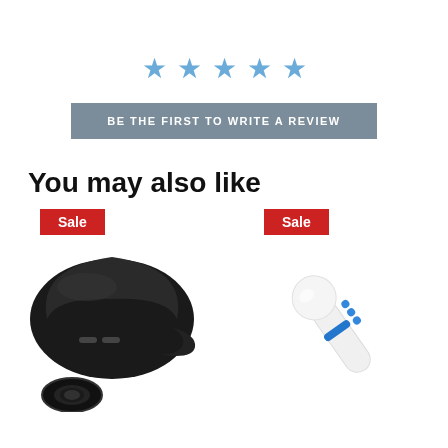[Figure (other): Five blue star rating icons in a horizontal row]
BE THE FIRST TO WRITE A REVIEW
You may also like
[Figure (photo): Black electronic device with a ring base — Sale badge shown]
[Figure (photo): White and blue wand massager — Sale badge shown]